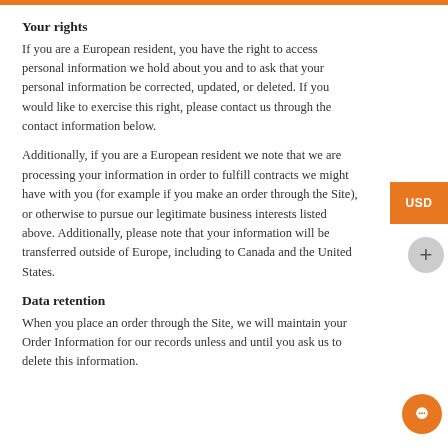Your rights
If you are a European resident, you have the right to access personal information we hold about you and to ask that your personal information be corrected, updated, or deleted. If you would like to exercise this right, please contact us through the contact information below.
Additionally, if you are a European resident we note that we are processing your information in order to fulfill contracts we might have with you (for example if you make an order through the Site), or otherwise to pursue our legitimate business interests listed above. Additionally, please note that your information will be transferred outside of Europe, including to Canada and the United States.
Data retention
When you place an order through the Site, we will maintain your Order Information for our records unless and until you ask us to delete this information.